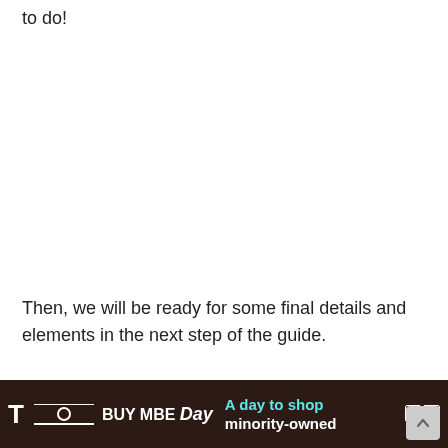to do!
Then, we will be ready for some final details and elements in the next step of the guide.
Step 5 – Add the final details to your Pop Art drawing